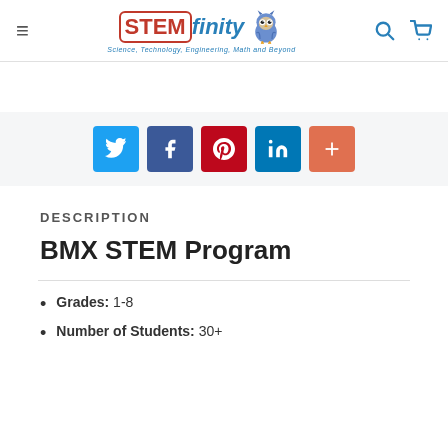STEMfinity — Science, Technology, Engineering, Math and Beyond
[Figure (infographic): Five social sharing buttons: Twitter (blue), Facebook (dark blue), Pinterest (red), LinkedIn (blue), Plus/More (orange-red)]
DESCRIPTION
BMX STEM Program
Grades: 1-8
Number of Students: 30+